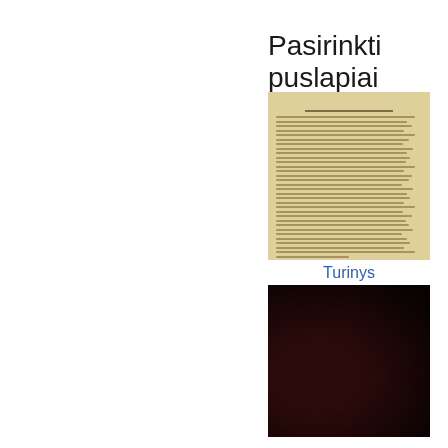Pasirinkti puslapiai
[Figure (photo): Scanned page of an old printed book or document with dense text columns, yellowed paper]
Turinys
[Figure (photo): Very dark, nearly black image of a book cover or dark page]